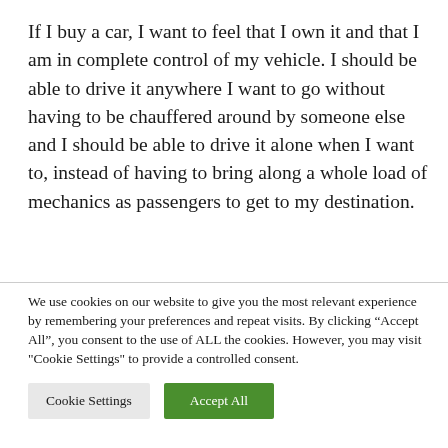If I buy a car, I want to feel that I own it and that I am in complete control of my vehicle. I should be able to drive it anywhere I want to go without having to be chauffered around by someone else and I should be able to drive it alone when I want to, instead of having to bring along a whole load of mechanics as passengers to get to my destination.
We use cookies on our website to give you the most relevant experience by remembering your preferences and repeat visits. By clicking "Accept All", you consent to the use of ALL the cookies. However, you may visit "Cookie Settings" to provide a controlled consent.